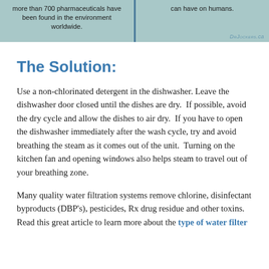[Figure (infographic): Two-column teal header banner with text in left column: 'more than 700 pharmaceuticals have been found in the environment worldwide.' and right column: 'can have on humans.' with DrJockers.ca logo at bottom right. Divided by a blue vertical line.]
The Solution:
Use a non-chlorinated detergent in the dishwasher. Leave the dishwasher door closed until the dishes are dry.  If possible, avoid the dry cycle and allow the dishes to air dry.  If you have to open the dishwasher immediately after the wash cycle, try and avoid breathing the steam as it comes out of the unit.  Turning on the kitchen fan and opening windows also helps steam to travel out of your breathing zone.
Many quality water filtration systems remove chlorine, disinfectant byproducts (DBP's), pesticides, Rx drug residue and other toxins.  Read this great article to learn more about the type of water filter